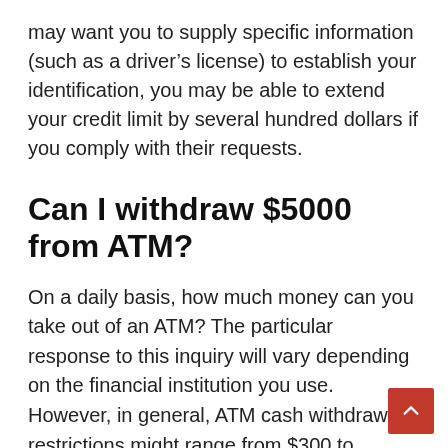may want you to supply specific information (such as a driver's license) to establish your identification, you may be able to extend your credit limit by several hundred dollars if you comply with their requests.
Can I withdraw $5000 from ATM?
On a daily basis, how much money can you take out of an ATM? The particular response to this inquiry will vary depending on the financial institution you use. However, in general, ATM cash withdrawal restrictions might range from $300 to $5,000 per day, depending on the machine. Financial institutions such as banks and credit unions